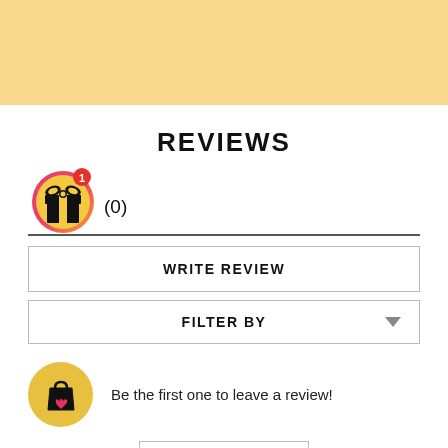[Figure (screenshot): Yellow/gold banner header background at top of page]
REVIEWS
[Figure (illustration): Gift box icon in a circular gradient (pink/orange) frame with a red badge showing '1', and rating text '(0)' next to it]
WRITE REVIEW
FILTER BY
[Figure (illustration): Shopping bag with heart icon in a gold/yellow circle]
Be the first one to leave a review!
Write Review